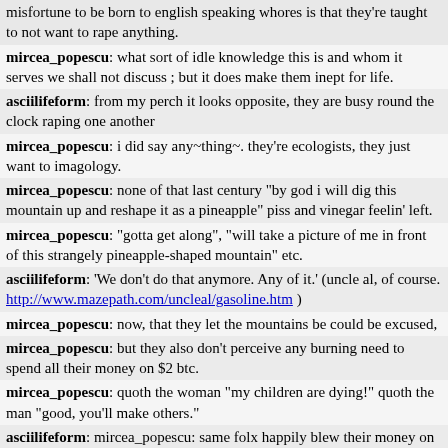misfortune to be born to english speaking whores is that they're taught to not want to rape anything.
mircea_popescu: what sort of idle knowledge this is and whom it serves we shall not discuss ; but it does make them inept for life.
asciilifeform: from my perch it looks opposite, they are busy round the clock raping one another
mircea_popescu: i did say any~thing~. they're ecologists, they just want to imagology.
mircea_popescu: none of that last century "by god i will dig this mountain up and reshape it as a pineapple" piss and vinegar feelin' left.
mircea_popescu: "gotta get along", "will take a picture of me in front of this strangely pineapple-shaped mountain" etc.
asciilifeform: 'We don't do that anymore. Any of it.' (uncle al, of course. http://www.mazepath.com/uncleal/gasoline.htm )
mircea_popescu: now, that they let the mountains be could be excused,
mircea_popescu: but they also don't perceive any burning need to spend all their money on $2 btc.
mircea_popescu: quoth the woman "my children are dying!" quoth the man "good, you'll make others."
asciilifeform: mircea_popescu: same folx happily blew their money on $2 (etc) alt-turds
mircea_popescu: do you know why ?
mircea_popescu: guess why!
asciilifeform: mircea_popescu: ...bother bitcoinist about $2/btc ?